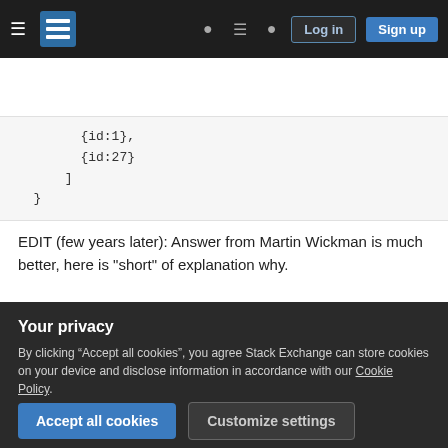Stack Exchange navigation bar with Log in and Sign up buttons
[Figure (screenshot): Code snippet showing {id:1}, {id:27} and closing brackets in a monospace code block on a light grey background]
EDIT (few years later): Answer from Martin Wickman is much better, here is "short" of explanation why.
When dealing with pagination always keep in mind possibility of contents or ordering changing. Like, first request comes, 24 results, you return first 10,
Your privacy
By clicking “Accept all cookies”, you agree Stack Exchange can store cookies on your device and disclose information in accordance with our Cookie Policy.
returning next page from "old" result set, which